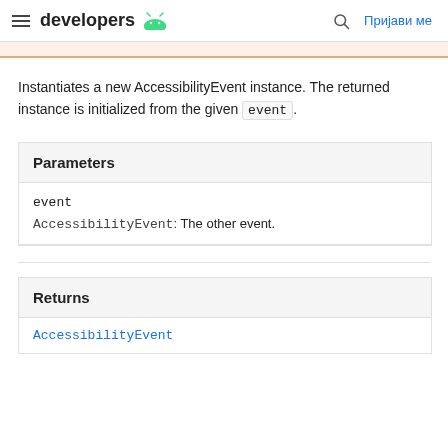developers | Пријави ме
Instantiates a new AccessibilityEvent instance. The returned instance is initialized from the given event.
| Parameters |
| --- |
| event |
| AccessibilityEvent: The other event. |
| Returns |
| --- |
| AccessibilityEvent |